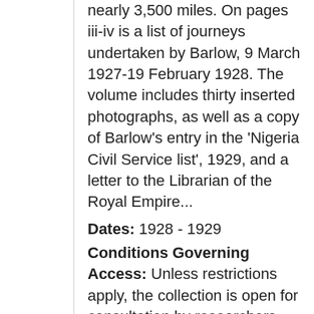nearly 3,500 miles. On pages iii-iv is a list of journeys undertaken by Barlow, 9 March 1927-19 February 1928. The volume includes thirty inserted photographs, as well as a copy of Barlow's entry in the 'Nigeria Civil Service list', 1929, and a letter to the Librarian of the Royal Empire...
Dates: 1928 - 1929
Conditions Governing Access: Unless restrictions apply, the collection is open for consultation by researchers using the Manuscripts Reading Room at Cambridge